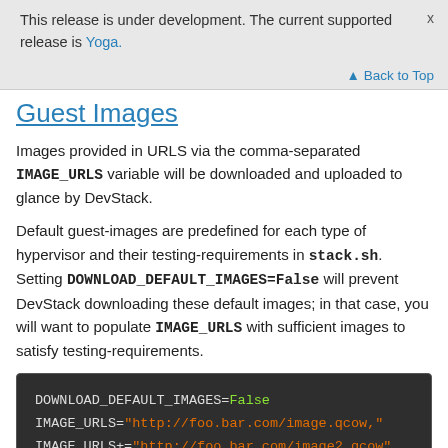This release is under development. The current supported release is Yoga.
▲ Back to Top
Guest Images
Images provided in URLS via the comma-separated IMAGE_URLS variable will be downloaded and uploaded to glance by DevStack.
Default guest-images are predefined for each type of hypervisor and their testing-requirements in stack.sh. Setting DOWNLOAD_DEFAULT_IMAGES=False will prevent DevStack downloading these default images; in that case, you will want to populate IMAGE_URLS with sufficient images to satisfy testing-requirements.
[Figure (screenshot): Code block showing: DOWNLOAD_DEFAULT_IMAGES=False, IMAGE_URLS="http://foo.bar.com/image.qcow,", IMAGE_URLS+="http://foo.bar.com/image2.qcow"]
Instance Type